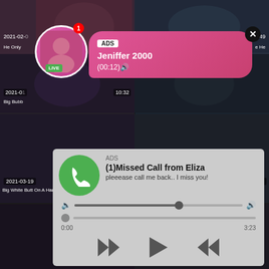[Figure (screenshot): Video thumbnail grid showing adult content website with overlaid ad popups. Top row shows video thumbnails with dates 2021-02 and duration 26:49. Second row shows 2021-01 with duration 10:32, label 'Big Bubb...'. Bottom row shows 2021-03-19 duration 23:03 'Big White Butt On A Hard Black Dick' and 2018-07-15 duration 53:11 'Dianas navel molested torture belly'. Ad popup 1: ADS label, 'Jeniffer 2000', '(00:12)' with LIVE badge avatar. Ad popup 2: ADS label, '(1)Missed Call from Eliza', 'pleeease call me back.. I miss you!' with audio player controls showing 0:00 / 3:23.]